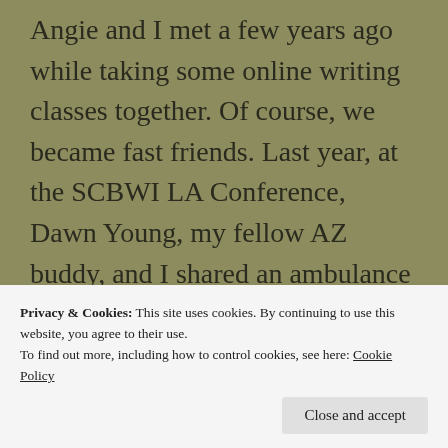Angie and I met a few years ago while taking some online writing classes together. Of course, we became fast friends. Last year, at the SCBWI LA Conference, Dawn Young, my fellow AZ buddy, and I shared an ambulance ride to the emergency room with Angie, after she skewered her hand with a sign pen. We had to say, after such a traumatic time
Privacy & Cookies: This site uses cookies. By continuing to use this website, you agree to their use.
To find out more, including how to control cookies, see here: Cookie Policy
Close and accept